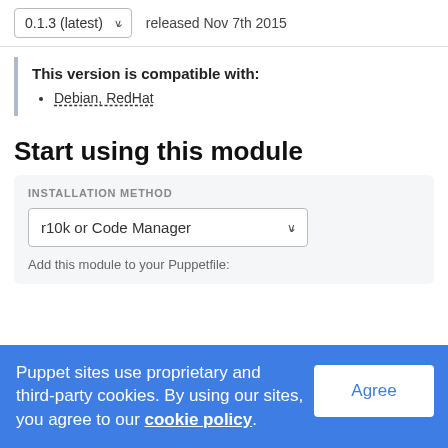0.1.3 (latest)   released Nov 7th 2015
This version is compatible with:
Debian, RedHat
Start using this module
INSTALLATION METHOD
r10k or Code Manager
Add this module to your Puppetfile:
Puppet sites use proprietary and third-party cookies. By using our sites, you agree to our cookie policy.